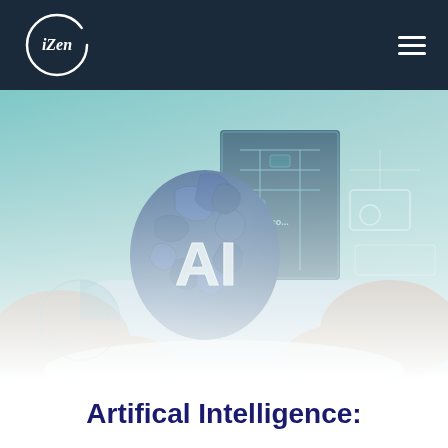iZen
[Figure (illustration): AI-themed hero image showing a person holding a blue digital brain with 'AI' text overlay and circuit board elements, teal/blue color scheme]
Artifical Intelligence: